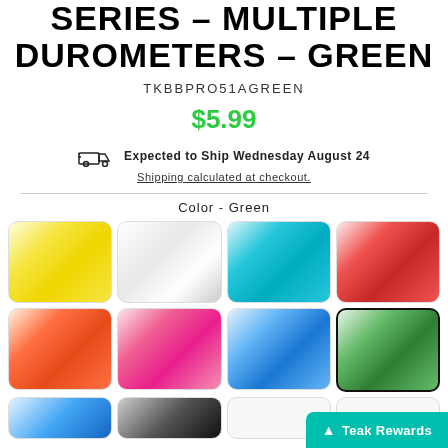SERIES – MULTIPLE DUROMETERS – GREEN
TKBBPRO51AGREEN
$5.99
Expected to Ship Wednesday August 24
Shipping calculated at checkout.
Color - Green
[Figure (photo): Grid of 8 color swatches of earbud tips: yellow, white, teal, red, orange, pink, light blue, green (selected). Plus partial row showing blue and black.]